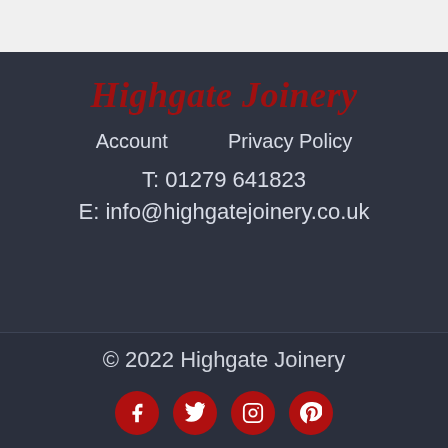Highgate Joinery
Account    Privacy Policy
T: 01279 641823
E: info@highgatejoinery.co.uk
© 2022 Highgate Joinery
[Figure (other): Social media icons: Facebook, Twitter, Instagram, Pinterest — red circular buttons]